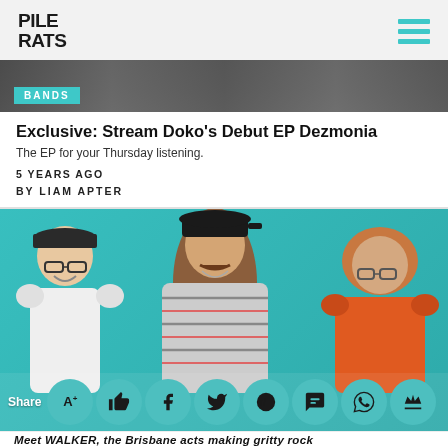PILE RATS
[Figure (photo): Dark black and white banner photo of band/concert]
BANDS
Exclusive: Stream Doko's Debut EP Dezmonia
The EP for your Thursday listening.
5 YEARS AGO
BY LIAM APTER
[Figure (photo): Photo of three people (band members) against a teal/turquoise background. Left person wears white shirt and dark cap with glasses. Middle person has long hair and dark cap. Right person has curly hair and orange shirt.]
Share
Meet WALKER, the Brisbane acts making gritty rock